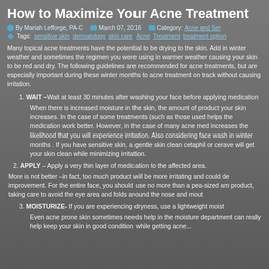How to Maximize Your Acne Treatment
By Mariah Lefforge, PA-C   March 07, 2016   Category: Acne and Sen...
Tags: sensitive skin  dermatology  skin care  Acne  Treatment  treatment option...
Many topical acne treatments have the potential to be drying to the skin. Add in winter weather and sometimes the regimen you were using in warmer weather causing your skin to be red and dry. The following guidelines are recommended for acne treatments, but are especially important during these winter months to acne treatment on track without causing irritation.
WAIT –Wait at least 30 minutes after washing your face before applying medication
When there is increased moisture in the skin, the amount of product your skin increases. In the case of some treatments (such as those used helps the medication work better. However, in the case of many acne med increases the likelihood that you will experience irritation. Also considering face wash in winter months . If you have sensitive skin, a gentle skin clean cetaphil or cerave will get your skin clean while minimizing irritation.
APPLY – Apply a very thin layer of medication to the affected area.
More is not better –in fact, too much product will be more irritating and could de improvement. For the entire face, you should use no more than a pea-sized am product, taking care to avoid the eye area and folds around the nose and mout
MOISTURIZE- If you are experiencing dryness, use a lightweight moist
Even acne prone skin sometimes needs help in the moisture department can really help keep your skin in good condition while getting acne...